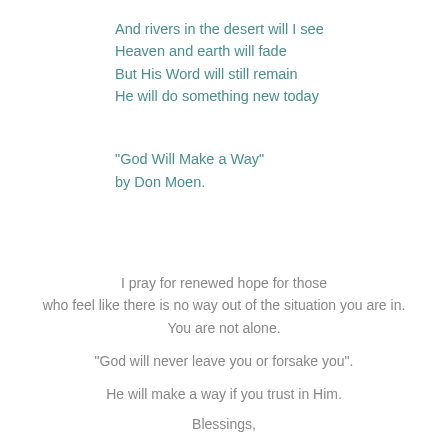And rivers in the desert will I see
Heaven and earth will fade
But His Word will still remain
He will do something new today
"God Will Make a Way"
by Don Moen.
I pray for renewed hope for those who feel like there is no way out of the situation you are in. You are not alone.
"God will never leave you or forsake you".
He will make a way if you trust in Him.
Blessings,